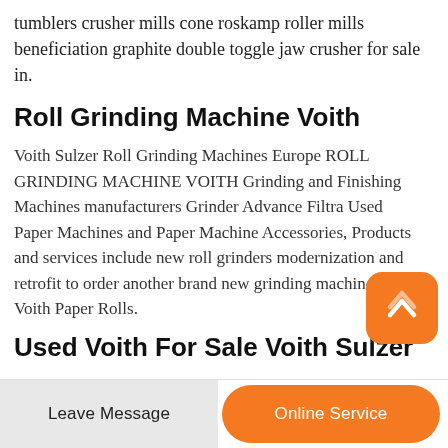tumblers crusher mills cone roskamp roller mills beneficiation graphite double toggle jaw crusher for sale in.
Roll Grinding Machine Voith
Voith Sulzer Roll Grinding Machines Europe ROLL GRINDING MACHINE VOITH Grinding and Finishing Machines manufacturers Grinder Advance Filtra Used Paper Machines and Paper Machine Accessories, Products and services include new roll grinders modernization and retrofit to order another brand new grinding machine for Voith Paper Rolls.
Used Voith For Sale Voith Sulzer